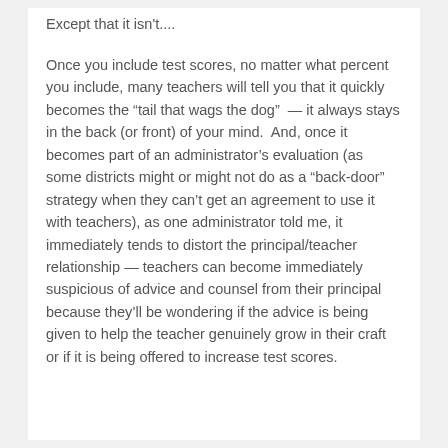Except that it isn't....
Once you include test scores, no matter what percent you include, many teachers will tell you that it quickly becomes the “tail that wags the dog” — it always stays in the back (or front) of your mind. And, once it becomes part of an administrator’s evaluation (as some districts might or might not do as a “back-door” strategy when they can’t get an agreement to use it with teachers), as one administrator told me, it immediately tends to distort the principal/teacher relationship — teachers can become immediately suspicious of advice and counsel from their principal because they’ll be wondering if the advice is being given to help the teacher genuinely grow in their craft or if it is being offered to increase test scores.